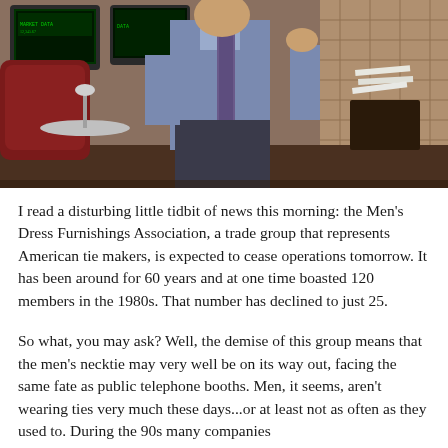[Figure (photo): A man in a blue dress shirt, patterned tie, and dark trousers stands in an office setting from the 1980s. Old computer monitors are visible in the background along with office furniture and a city building view.]
I read a disturbing little tidbit of news this morning: the Men's Dress Furnishings Association, a trade group that represents American tie makers, is expected to cease operations tomorrow. It has been around for 60 years and at one time boasted 120 members in the 1980s. That number has declined to just 25.
So what, you may ask? Well, the demise of this group means that the men's necktie may very well be on its way out, facing the same fate as public telephone booths. Men, it seems, aren't wearing ties very much these days...or at least not as often as they used to. During the 90s many companies